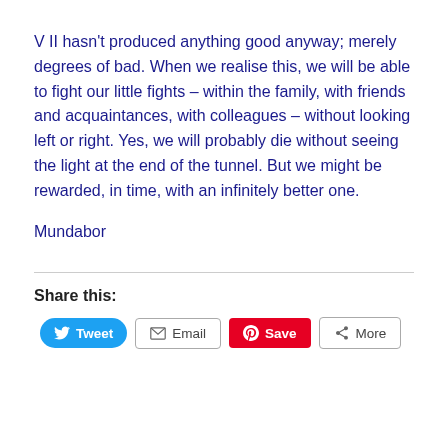V II hasn't produced anything good anyway; merely degrees of bad. When we realise this, we will be able to fight our little fights – within the family, with friends and acquaintances, with colleagues – without looking left or right. Yes, we will probably die without seeing the light at the end of the tunnel. But we might be rewarded, in time, with an infinitely better one.
Mundabor
Share this:
Tweet  Email  Save  More